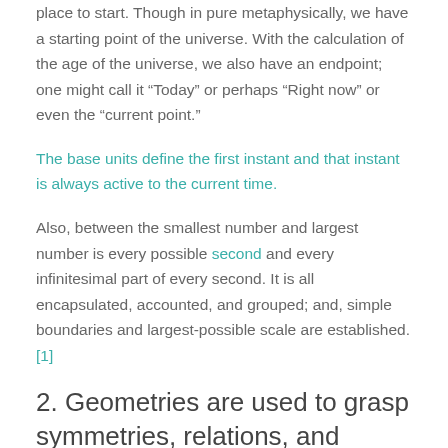place to start. Though in pure metaphysically, we have a starting point of the universe. With the calculation of the age of the universe, we also have an endpoint; one might call it “Today” or perhaps “Right now” or even the “current point.”
The base units define the first instant and that instant is always active to the current time.
Also, between the smallest number and largest number is every possible second and every infinitesimal part of every second. It is all encapsulated, accounted, and grouped; and, simple boundaries and largest-possible scale are established. [1]
2. Geometries are used to grasp symmetries, relations, and space.